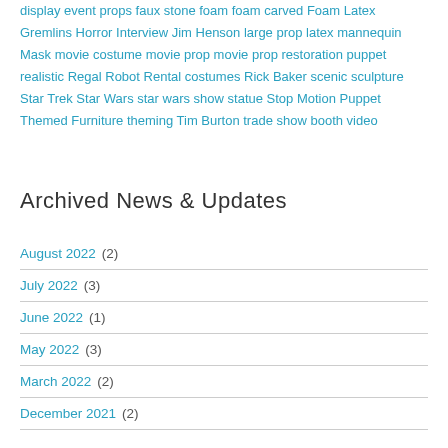conservation convention costume custom mannequin airbrush display event props faux stone foam foam carved Foam Latex Gremlins Horror Interview Jim Henson large prop latex mannequin Mask movie costume movie prop movie prop restoration puppet realistic Regal Robot Rental costumes Rick Baker scenic sculpture Star Trek Star Wars star wars show statue Stop Motion Puppet Themed Furniture theming Tim Burton trade show booth video
Archived News & Updates
August 2022  (2)
July 2022  (3)
June 2022  (1)
May 2022  (3)
March 2022  (2)
December 2021  (2)